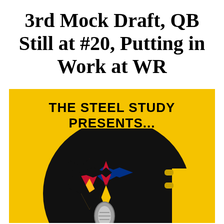3rd Mock Draft, QB Still at #20, Putting in Work at WR
[Figure (logo): The Steel Study podcast logo: yellow/gold background with black football helmet, Pittsburgh Steelers four-pointed star logo in red, black, blue and gold, and a vintage microphone. Text reads 'THE STEEL STUDY PRESENTS...']